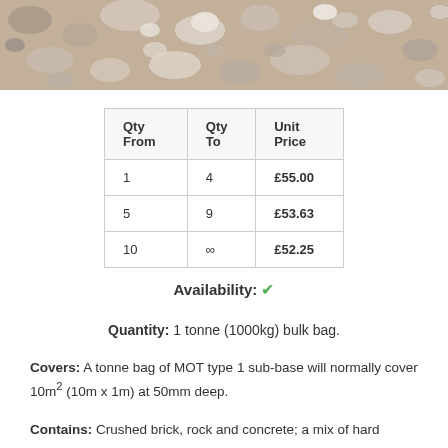[Figure (photo): Close-up photo of gravel, crushed rock and concrete pieces — grey and beige tones, MOT type 1 sub-base material.]
| Qty From | Qty To | Unit Price |
| --- | --- | --- |
| 1 | 4 | £55.00 |
| 5 | 9 | £53.63 |
| 10 | ∞ | £52.25 |
Availability: ✓
Quantity: 1 tonne (1000kg) bulk bag.
Covers: A tonne bag of MOT type 1 sub-base will normally cover 10m² (10m x 1m) at 50mm deep.
Contains: Crushed brick, rock and concrete; a mix of hard